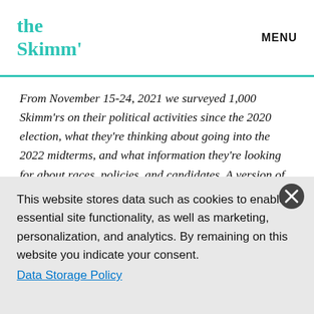the Skimm' MENU
From November 15-24, 2021 we surveyed 1,000 Skimm'rs on their political activities since the 2020 election, what they're thinking about going into the 2022 midterms, and what information they're looking for about races, policies, and candidates. A version of this survey was sent to subscribers in 2019 in the
This website stores data such as cookies to enable essential site functionality, as well as marketing, personalization, and analytics. By remaining on this website you indicate your consent. Data Storage Policy